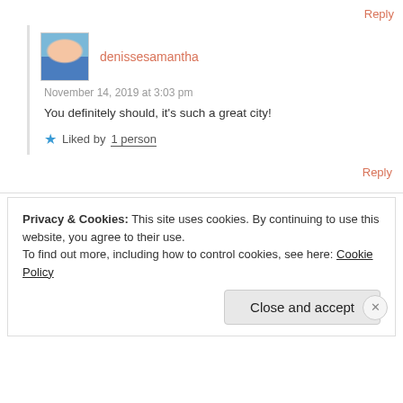Reply
denissesamantha
November 14, 2019 at 3:03 pm
You definitely should, it's such a great city!
★ Liked by 1 person
Reply
Privacy & Cookies: This site uses cookies. By continuing to use this website, you agree to their use.
To find out more, including how to control cookies, see here: Cookie Policy
Close and accept